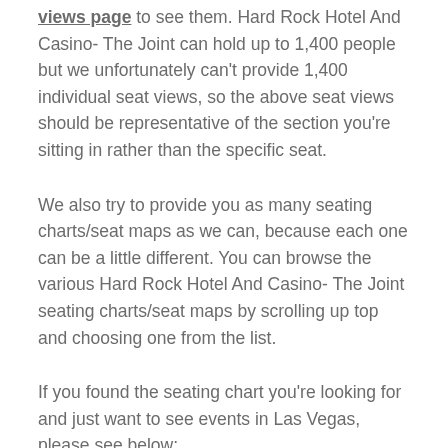views page to see them. Hard Rock Hotel And Casino- The Joint can hold up to 1,400 people but we unfortunately can't provide 1,400 individual seat views, so the above seat views should be representative of the section you're sitting in rather than the specific seat.
We also try to provide you as many seating charts/seat maps as we can, because each one can be a little different. You can browse the various Hard Rock Hotel And Casino- The Joint seating charts/seat maps by scrolling up top and choosing one from the list.
If you found the seating chart you're looking for and just want to see events in Las Vegas, please see below: